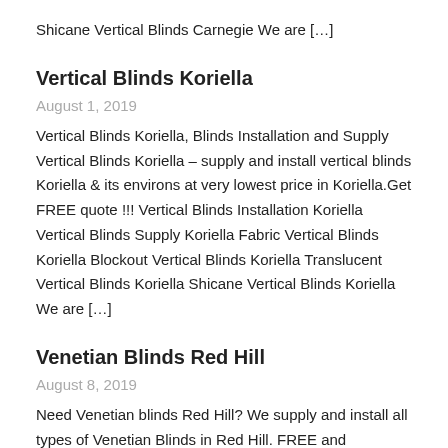Shicane Vertical Blinds Carnegie We are […]
Vertical Blinds Koriella
August 1, 2019
Vertical Blinds Koriella, Blinds Installation and Supply Vertical Blinds Koriella – supply and install vertical blinds Koriella & its environs at very lowest price in Koriella.Get FREE quote !!! Vertical Blinds Installation Koriella Vertical Blinds Supply Koriella Fabric Vertical Blinds Koriella Blockout Vertical Blinds Koriella Translucent Vertical Blinds Koriella Shicane Vertical Blinds Koriella We are […]
Venetian Blinds Red Hill
August 8, 2019
Need Venetian blinds Red Hill? We supply and install all types of Venetian Blinds in Red Hill. FREE and